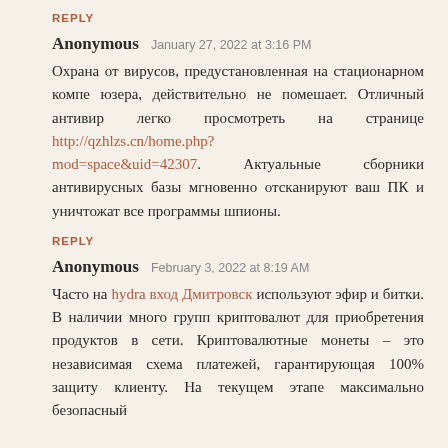REPLY
Anonymous  January 27, 2022 at 3:16 PM
Охрана от вирусов, предустановленная на стационарном компе юзера, действительно не помешает. Отличный антивир легко просмотреть на странице http://qzhlzs.cn/home.php?mod=space&uid=42307. Актуальные сборники антивирусных базы мгновенно отсканируют ваш ПК и уничтожат все программы шпионы.
REPLY
Anonymous  February 3, 2022 at 8:19 AM
Часто на hydra вход Дмитровск используют эфир и битки. В наличии много групп криптовалют для приобретения продуктов в сети. Криптовалютные монеты – это независимая схема платежей, гарантирующая 100% защиту клиенту. На текущем этапе максимально безопасный